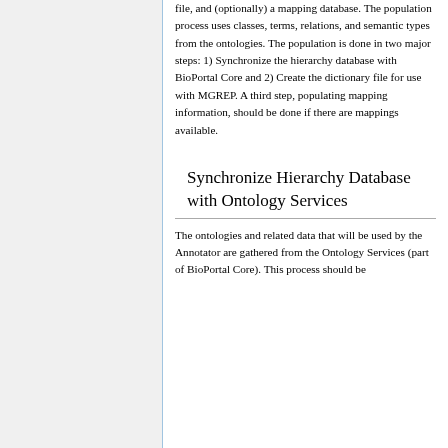file, and (optionally) a mapping database. The population process uses classes, terms, relations, and semantic types from the ontologies. The population is done in two major steps: 1) Synchronize the hierarchy database with BioPortal Core and 2) Create the dictionary file for use with MGREP. A third step, populating mapping information, should be done if there are mappings available.
Synchronize Hierarchy Database with Ontology Services
The ontologies and related data that will be used by the Annotator are gathered from the Ontology Services (part of BioPortal Core). This process should be